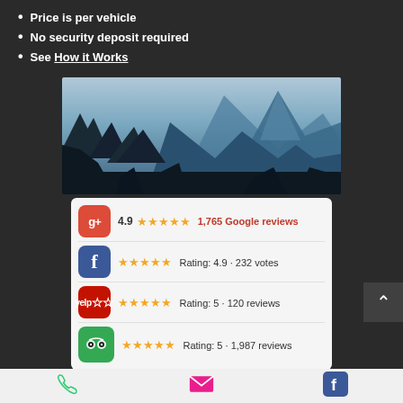Price is per vehicle
No security deposit required
See How it Works
[Figure (photo): Mountain landscape with blue-toned mountains and forest silhouette]
| Platform | Rating | Reviews |
| --- | --- | --- |
| Google+ | 4.9 ★★★★★ | 1,765 Google reviews |
| Facebook | ★★★★★ | Rating: 4.9 · 232 votes |
| Yelp | ★★★★★ | Rating: 5 · 120 reviews |
| TripAdvisor | ★★★★★ | Rating: 5 · 1,987 reviews |
BUSINESS HOURS